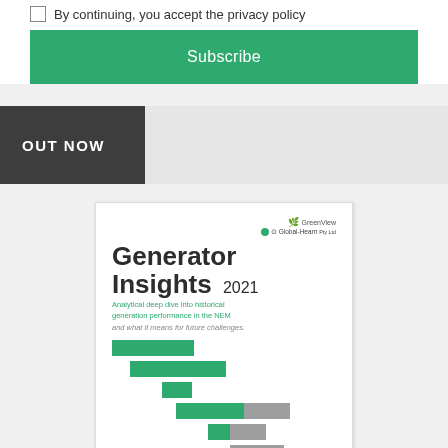By continuing, you accept the privacy policy
Subscribe
OUT NOW
[Figure (illustration): Book cover for 'Generator Insights 2021' by GreenView and Global-Hearn. Shows title text, subtitle about NEM generation performance, and decorative green/grey horizontal bars at the bottom.]